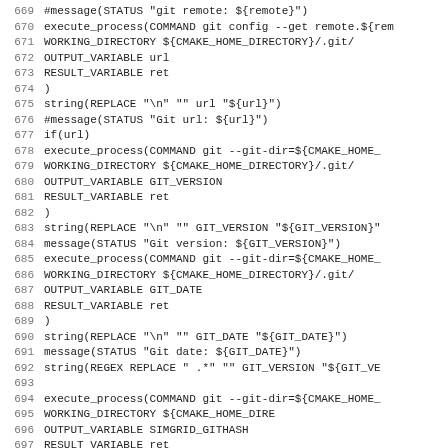Code listing lines 669-701, CMake script for git version detection
669: #message(STATUS "git remote: ${remote}")
670: execute_process(COMMAND git config --get remote.${rem
671: WORKING_DIRECTORY ${CMAKE_HOME_DIRECTORY}/.git/
672: OUTPUT_VARIABLE url
673: RESULT_VARIABLE ret
674: )
675: string(REPLACE "\n" "" url "${url}")
676: #message(STATUS "Git url: ${url}")
677: if(url)
678:     execute_process(COMMAND git --git-dir=${CMAKE_HOME_
679:     WORKING_DIRECTORY ${CMAKE_HOME_DIRECTORY}/.git/
680:     OUTPUT_VARIABLE GIT_VERSION
681:     RESULT_VARIABLE ret
682:     )
683:     string(REPLACE "\n" "" GIT_VERSION "${GIT_VERSION}"
684:     message(STATUS "Git version: ${GIT_VERSION}")
685:     execute_process(COMMAND git --git-dir=${CMAKE_HOME_
686:     WORKING_DIRECTORY ${CMAKE_HOME_DIRECTORY}/.git/
687:     OUTPUT_VARIABLE GIT_DATE
688:     RESULT_VARIABLE ret
689:     )
690:     string(REPLACE "\n" "" GIT_DATE "${GIT_DATE}")
691:     message(STATUS "Git date: ${GIT_DATE}")
692:     string(REGEX REPLACE " .*" "" GIT_VERSION "${GIT_VE
693:
694:     execute_process(COMMAND git --git-dir=${CMAKE_HOME_
695:                     WORKING_DIRECTORY ${CMAKE_HOME_DIRE
696:                     OUTPUT_VARIABLE SIMGRID_GITHASH
697:                     RESULT_VARIABLE ret
698:                     )
699:     string(REPLACE "\n" "" SIMGRID_GITHASH "${SIMGRID_G
700:
701: endif()